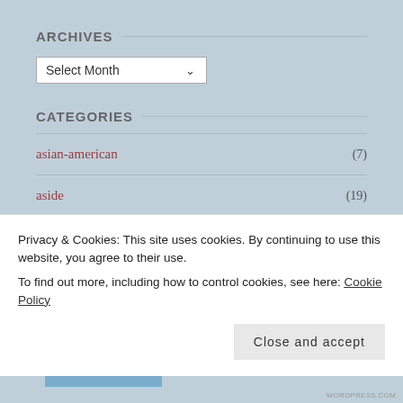ARCHIVES
Select Month
CATEGORIES
asian-american (7)
aside (19)
snippets (2)
Privacy & Cookies: This site uses cookies. By continuing to use this website, you agree to their use.
To find out more, including how to control cookies, see here: Cookie Policy
Close and accept